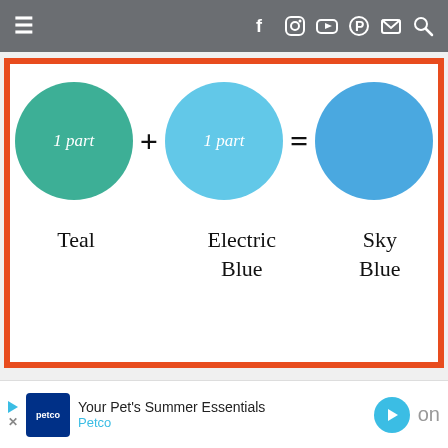Navigation bar with hamburger menu and social icons
[Figure (infographic): Color mixing infographic: 1 part Teal circle + 1 part Electric Blue circle = Sky Blue circle. Orange border box.]
[Figure (infographic): Color mixing infographic: 10 parts orange circle + 1 cup outlined circle = salmon/coral circle. Blue border box.]
[Figure (infographic): Petco advertisement banner: Your Pet's Summer Essentials]